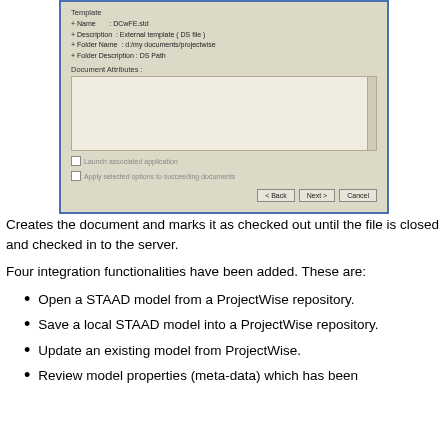[Figure (screenshot): A Windows dialog box showing a document template configuration with fields: Name (DCwFE.std), Description (External template (DS file)), Folder Name (d:/my documents/projectwise), Folder Description (DS Path), and a Document Attributes section with an empty text area. Below are two disabled checkboxes: 'Launch associated application' and 'Apply selected options to succeeding documents'. Three buttons at the bottom: Back, Next, Cancel.]
Creates the document and marks it as checked out until the file is closed and checked in to the server.
Four integration functionalities have been added. These are:
Open a STAAD model from a ProjectWise repository.
Save a local STAAD model into a ProjectWise repository.
Update an existing model from ProjectWise.
Review model properties (meta-data) which has been